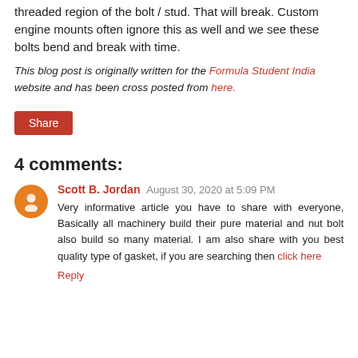threaded region of the bolt / stud. That will break. Custom engine mounts often ignore this as well and we see these bolts bend and break with time.
This blog post is originally written for the Formula Student India website and has been cross posted from here.
Share
4 comments:
Scott B. Jordan  August 30, 2020 at 5:09 PM
Very informative article you have to share with everyone, Basically all machinery build their pure material and nut bolt also build so many material. I am also share with you best quality type of gasket, if you are searching then click here
Reply